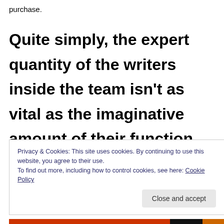purchase.
Quite simply, the expert quantity of the writers inside the team isn't as vital as the imaginative amount of their function.
Privacy & Cookies: This site uses cookies. By continuing to use this website, you agree to their use.
To find out more, including how to control cookies, see here: Cookie Policy
Close and accept